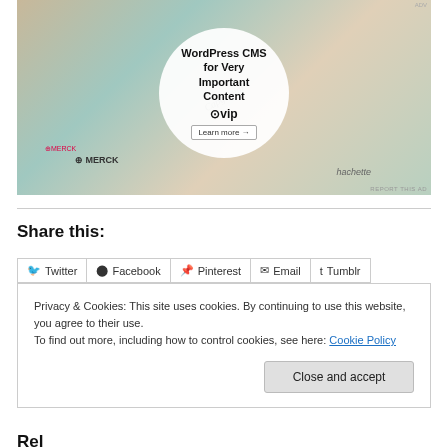[Figure (screenshot): WordPress CMS VIP advertisement banner with circular overlay showing 'WordPress CMS for Very Important Content' with WPvip logo and 'Learn more' button. Background shows various brand logos including Merck, Capgemini, Hachette, Salesforce.]
REPORT THIS AD
Share this:
Twitter | Facebook | Pinterest | Email | Tumblr
Privacy & Cookies: This site uses cookies. By continuing to use this website, you agree to their use.
To find out more, including how to control cookies, see here: Cookie Policy
Close and accept
Related